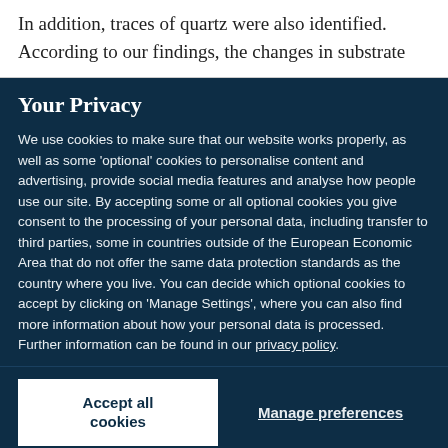In addition, traces of quartz were also identified. According to our findings, the changes in substrate
Your Privacy
We use cookies to make sure that our website works properly, as well as some 'optional' cookies to personalise content and advertising, provide social media features and analyse how people use our site. By accepting some or all optional cookies you give consent to the processing of your personal data, including transfer to third parties, some in countries outside of the European Economic Area that do not offer the same data protection standards as the country where you live. You can decide which optional cookies to accept by clicking on 'Manage Settings', where you can also find more information about how your personal data is processed. Further information can be found in our privacy policy.
Accept all cookies
Manage preferences